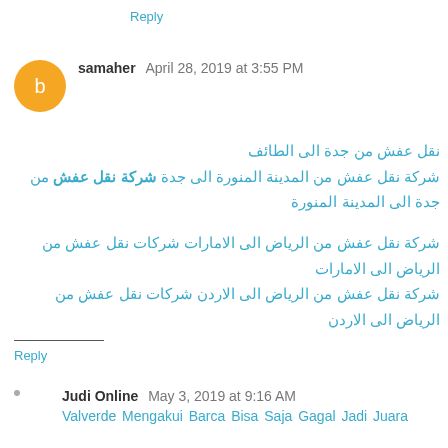Reply
samaher  April 28, 2019 at 3:55 PM
نقل عفش من جدة الى الطائف
شركة نقل عفش من المدينة المنورة الى جدة شركة نقل عفش من جدة الى المدينة المنورة
شركة نقل عفش من الرياض الى الامارات شركات نقل عفش من الرياض الى الامارات
شركة نقل عفش من الرياض الى الاردن شركات نقل عفش من الرياض الى الاردن
Reply
Judi Online  May 3, 2019 at 9:16 AM
Valverde Mengakui Barca Bisa Saja Gagal Jadi Juara